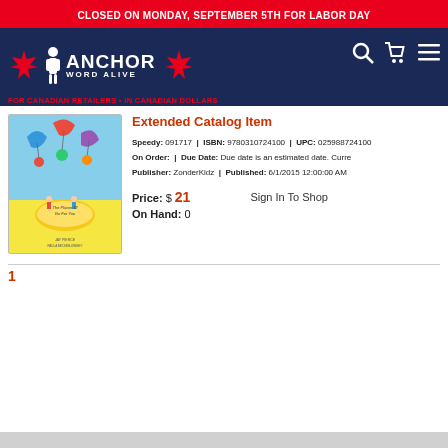CLOSED ON MONDAY, SEPTEMBER 5TH FOR LABOR DAY
[Figure (logo): Anchor Word Alive logo with Canadian maple leaves, search, cart, and menu icons on dark blue navigation bar]
FOR CANADIAN RETAILERS • IN CANADIAN DOLLARS
Extended Catalog Item
Speedy: 091717 | ISBN: 9780310724100 | UPC: 025988724100
On Order: | Due Date: Due date is an estimated date. Curre...
Publisher: ZonderKidz | Published: 6/1/2015 12:00:00 AM
Price: $ 21
On Hand: 0
Sign In To Shop
1